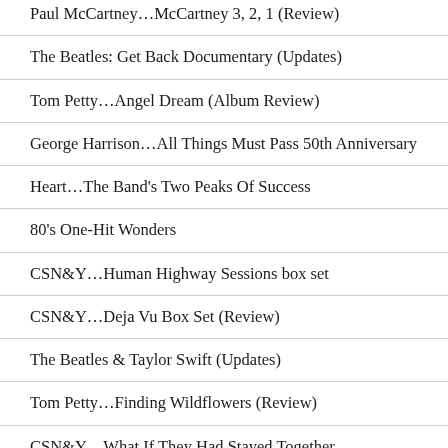Paul McCartney…McCartney 3, 2, 1 (Review)
The Beatles: Get Back Documentary (Updates)
Tom Petty…Angel Dream (Album Review)
George Harrison…All Things Must Pass 50th Anniversary
Heart…The Band's Two Peaks Of Success
80's One-Hit Wonders
CSN&Y…Human Highway Sessions box set
CSN&Y…Deja Vu Box Set (Review)
The Beatles & Taylor Swift (Updates)
Tom Petty…Finding Wildflowers (Review)
CSN&Y…What If They Had Stayed Together